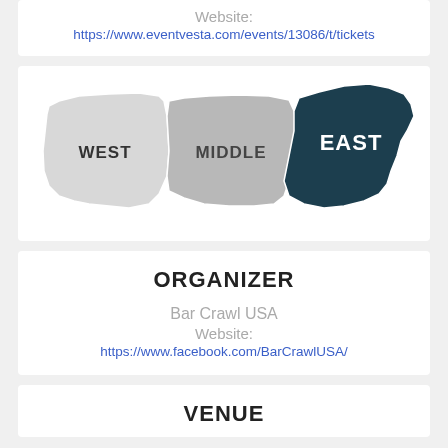Website:
https://www.eventvesta.com/events/13086/t/tickets
[Figure (map): Map of Tennessee divided into three regions: WEST (light gray, left), MIDDLE (medium gray, center), and EAST (dark navy, right), with bold uppercase labels on each region.]
ORGANIZER
Bar Crawl USA
Website:
https://www.facebook.com/BarCrawlUSA/
VENUE